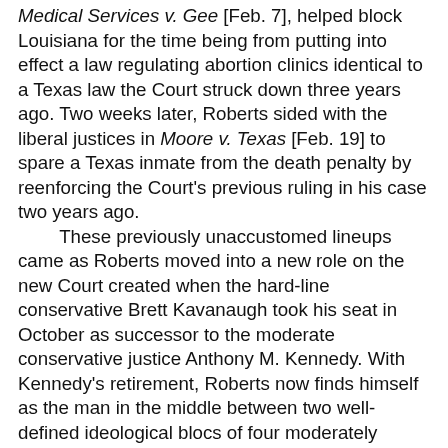Medical Services v. Gee [Feb. 7], helped block Louisiana for the time being from putting into effect a law regulating abortion clinics identical to a Texas law the Court struck down three years ago. Two weeks later, Roberts sided with the liberal justices in Moore v. Texas [Feb. 19] to spare a Texas inmate from the death penalty by reenforcing the Court's previous ruling in his case two years ago. These previously unaccustomed lineups came as Roberts moved into a new role on the new Court created when the hard-line conservative Brett Kavanaugh took his seat in October as successor to the moderate conservative justice Anthony M. Kennedy. With Kennedy's retirement, Roberts now finds himself as the man in the middle between two well-defined ideological blocs of four moderately liberal justices and his four aggressively conservative colleagues. The Court's order in the Louisiana abortion clinic case came without any written opinion. The five-justice majority refused the state's request to stay the decision by the Fifth U.S. Circuit Court of Appeals to uphold the law; four justices said they would have granted the stay: Clarence Thomas, Samuel A. Alito Jr., and President Trump's two appointees, Neil M. Gorsuch and Brett Kavanaugh. With no written